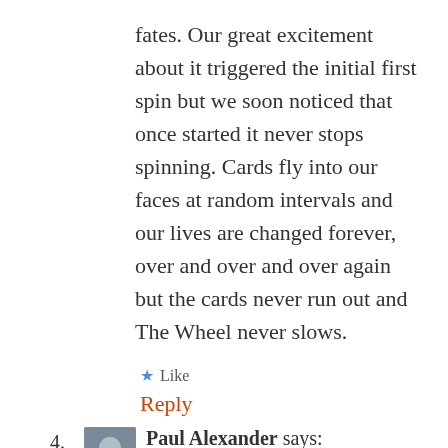fates. Our great excitement about it triggered the initial first spin but we soon noticed that once started it never stops spinning. Cards fly into our faces at random intervals and our lives are changed forever, over and over and over again but the cards never run out and The Wheel never slows.
★ Like
Reply
4. Paul Alexander says: March 1, 2013 at 8:29 pm
Amazing to walk into the MAH and see an inspiring piece in Fun.A Day and then see my